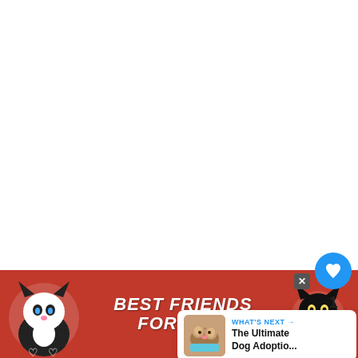[Figure (screenshot): White blank main content area of a webpage]
[Figure (illustration): Blue circular like/heart button with heart icon, count of 1, and white circular share button with share icon]
[Figure (screenshot): WHAT'S NEXT card showing thumbnail of dogs and text 'The Ultimate Dog Adoptio...']
[Figure (photo): Advertisement banner with pink/red background showing two cats (black-and-white and black) with text 'BEST FRIENDS FOREVER' and heart symbols, plus close X button and paw logo]